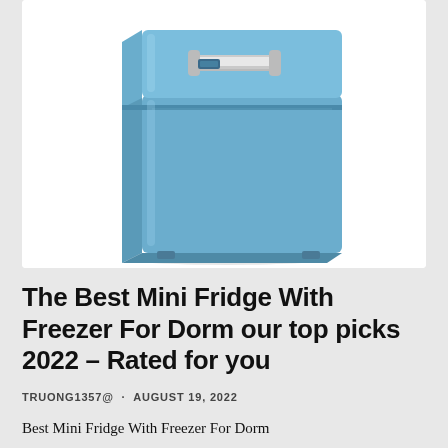[Figure (photo): Blue retro-style mini fridge with freezer compartment on top, featuring a chrome handle, shown on a white background inside a white card.]
The Best Mini Fridge With Freezer For Dorm our top picks 2022 – Rated for you
TRUONG1357@  ·  AUGUST 19, 2022
Best Mini Fridge With Freezer For Dorm